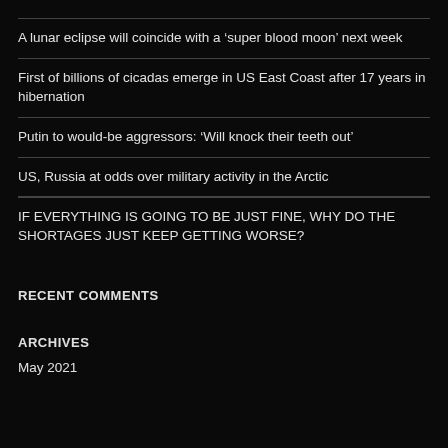A lunar eclipse will coincide with a ‘super blood moon’ next week
First of billions of cicadas emerge in US East Coast after 17 years in hibernation
Putin to would-be aggressors: ‘Will knock their teeth out’
US, Russia at odds over military activity in the Arctic
IF EVERYTHING IS GOING TO BE JUST FINE, WHY DO THE SHORTAGES JUST KEEP GETTING WORSE?
RECENT COMMENTS
ARCHIVES
May 2021